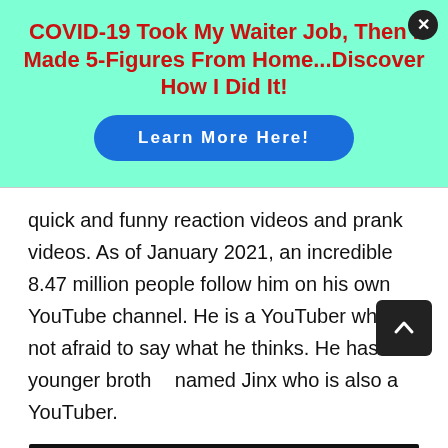[Figure (infographic): Advertisement banner with mint/aqua background. Red bold headline: 'COVID-19 Took My Waiter Job, Then I Made 5-Figures From Home...Discover How I Did It!' with a blue rounded 'Learn More Here!' button. Close button (X) in top right corner.]
quick and funny reaction videos and prank videos. As of January 2021, an incredible 8.47 million people follow him on his own YouTube channel. He is a YouTuber who is not afraid to say what he thinks. He has a younger brother named Jinx who is also a YouTuber.
[Figure (screenshot): Dark/black image strip with white bold text 'SHE CAN STEM' and partial brand watermark text on the right side.]